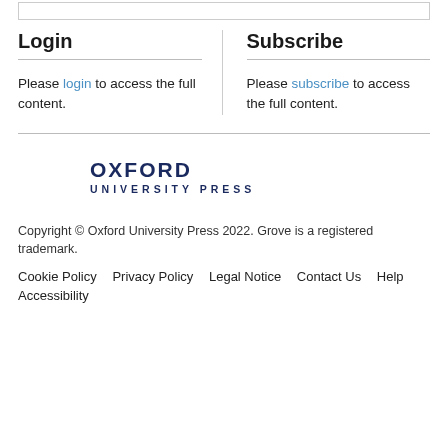Login
Please login to access the full content.
Subscribe
Please subscribe to access the full content.
[Figure (logo): Oxford University Press logo with circular emblem and text OXFORD UNIVERSITY PRESS]
Copyright © Oxford University Press 2022. Grove is a registered trademark.
Cookie Policy  Privacy Policy  Legal Notice  Contact Us  Help
Accessibility